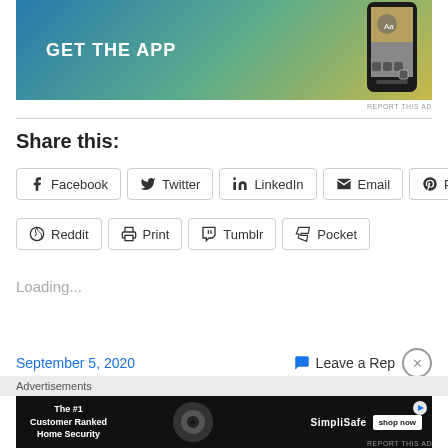[Figure (screenshot): App advertisement banner with gradient blue-green-yellow background, 'GET THE APP' text in white, and phone mockup on right]
REPORT THIS AD
Share this:
Facebook
Twitter
LinkedIn
Email
Pinterest
Reddit
Print
Tumblr
Pocket
Loading...
September 5, 2020
Leave a Rep
Advertisements
[Figure (screenshot): SimpliSafe advertisement banner with black background, 'The #1 Customer Ranked Home Security' text, security camera, SimpliSafe logo, and 'shop now' button]
REPORT THIS AD